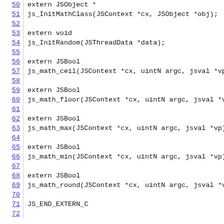[Figure (screenshot): Source code listing showing C/C++ extern function declarations for JavaScript math functions (lines 50-72). Line numbers are shown in blue on the left with a vertical separator. Code includes: extern JSObject* js_InitMathClass, extern void js_InitRandom, extern JSBool js_math_ceil, js_math_floor, js_math_max, js_math_min, js_math_round, and JS_END_EXTERN_C.]